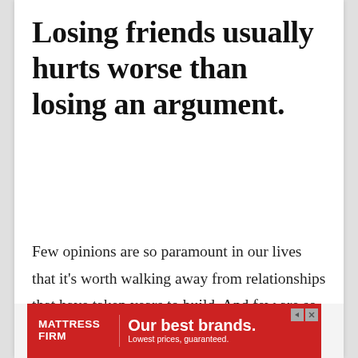Losing friends usually hurts worse than losing an argument.
Few opinions are so paramount in our lives that it’s worth walking away from relationships that have taken years to build. And few are so important that we sacrifice the jobs and grades that significantly impact our lives and well-being.
[Figure (other): Advertisement banner for Mattress Firm with red background. Logo reads 'MATTRESS FIRM' in white bold text. Tagline reads 'Our best brands.' in large white bold text with subtitle 'Lowest prices, guaranteed.' in smaller white text.]